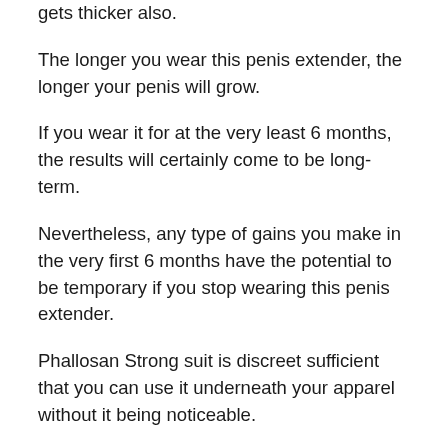gets thicker also.
The longer you wear this penis extender, the longer your penis will grow.
If you wear it for at the very least 6 months, the results will certainly come to be long-term.
Nevertheless, any type of gains you make in the very first 6 months have the potential to be temporary if you stop wearing this penis extender.
Phallosan Strong suit is discreet sufficient that you can use it underneath your apparel without it being noticeable.